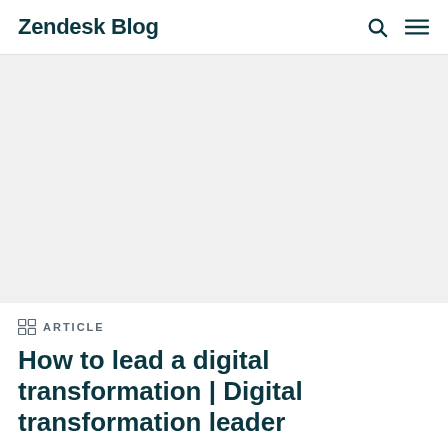Zendesk Blog
[Figure (other): Large hero image area, light gray background, appears blank or faded]
ARTICLE
How to lead a digital transformation | Digital transformation leader